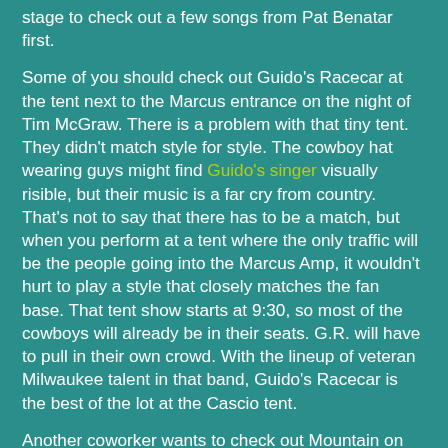stage to check out a few songs from Pat Benatar first.
Some of you should check out Guido's Racecar at the tent next to the Marcus entrance on the night of Tim McGraw. There is a problem with that tiny tent. They didn't match style for style. The cowboy hat wearing guys might find Guido's singer visually risible, but their music is a far cry from country. That's not to say that there has to be a match, but when you perform at a tent where the only traffic will be the people going into the Marcus Amp, it wouldn't hurt to play a style that closely matches the fan base. That tent show starts at 9:30, so most of the cowboys will already be in their seats. G.R. will have to pull in their own crowd. With the lineup of veteran Milwaukee talent in that band, Guido's Racecar is the best of the lot at the Cascio tent.
Another coworker wants to check out Mountain on July 4th. I think that they had another hit aside from Mississippi Queen. Before that show, he could check out the Summerfest Strongman Contest at the Sentry Sports Zone.